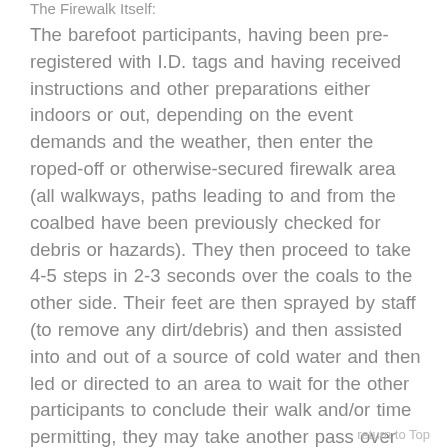The Firewalk Itself:
The barefoot participants, having been pre-registered with I.D. tags and having received instructions and other preparations either indoors or out, depending on the event demands and the weather, then enter the roped-off or otherwise-secured firewalk area (all walkways, paths leading to and from the coalbed have been previously checked for debris or hazards). They then proceed to take 4-5 steps in 2-3 seconds over the coals to the other side. Their feet are then sprayed by staff (to remove any dirt/debris) and then assisted into and out of a source of cold water and then led or directed to an area to wait for the other participants to conclude their walk and/or time permitting, they may take another pass over the coals. Participants then return
return to Top